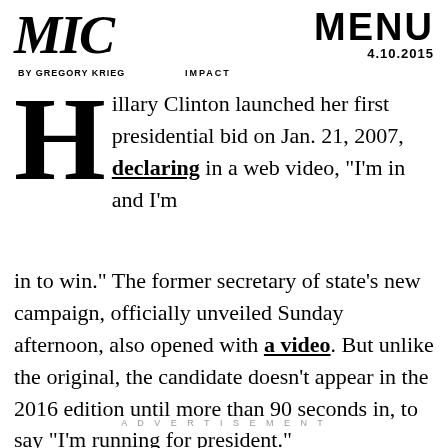MIC BY GREGORY KRIEG    IMPACT    MENU 4.10.2015
Hillary Clinton launched her first presidential bid on Jan. 21, 2007, declaring in a web video, "I'm in and I'm in to win." The former secretary of state's new campaign, officially unveiled Sunday afternoon, also opened with a video. But unlike the original, the candidate doesn't appear in the 2016 edition until more than 90 seconds in, to say "I'm running for president."
ADVERTISEMENT